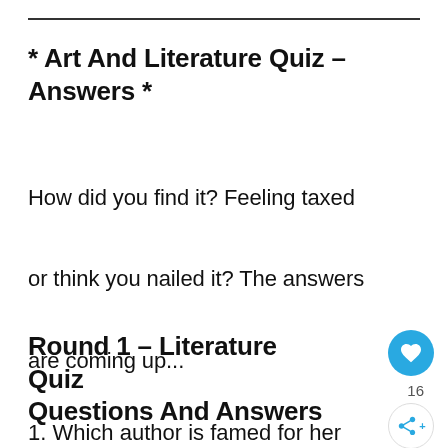* Art And Literature Quiz – Answers *
How did you find it? Feeling taxed or think you nailed it? The answers are coming up...
Round 1 – Literature Quiz Questions And Answers
1. Which author is famed for her